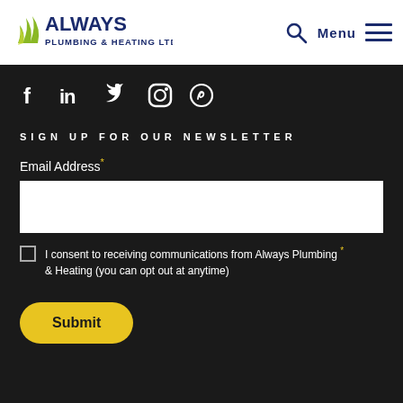[Figure (logo): Always Plumbing & Heating Ltd. logo with wave/flame icon in green/yellow and company name in dark blue]
[Figure (infographic): Navigation icons: search magnifier and hamburger menu with 'Menu' text in dark blue]
[Figure (infographic): Social media icons row: Facebook, LinkedIn, Twitter, Instagram, Pinterest in white on dark background]
SIGN UP FOR OUR NEWSLETTER
Email Address*
I consent to receiving communications from Always Plumbing & Heating (you can opt out at anytime) *
Submit